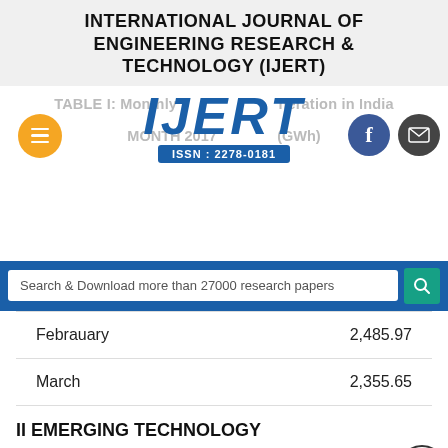INTERNATIONAL JOURNAL OF ENGINEERING RESEARCH & TECHNOLOGY (IJERT)
TABLE I: Monthly Power Generation in India
MONTH 2017  (GWh)
[Figure (logo): IJERT logo with ISSN: 2278-0181]
| MONTH | GWh |
| --- | --- |
| Febrauary | 2,485.97 |
| March | 2,355.65 |
II EMERGING TECHNOLOGY
Latterly, inexpensive and flexible wireless sensors have appeared as an enabling technology for monitoring applications [2][2]